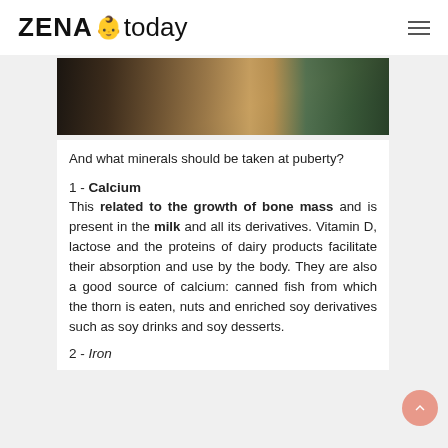ZENA today
[Figure (photo): Partial photo of people at a table with food/vegetables, cropped at top]
And what minerals should be taken at puberty?
1 - Calcium
This related to the growth of bone mass and is present in the milk and all its derivatives. Vitamin D, lactose and the proteins of dairy products facilitate their absorption and use by the body. They are also a good source of calcium: canned fish from which the thorn is eaten, nuts and enriched soy derivatives such as soy drinks and soy desserts.
2 - Iron